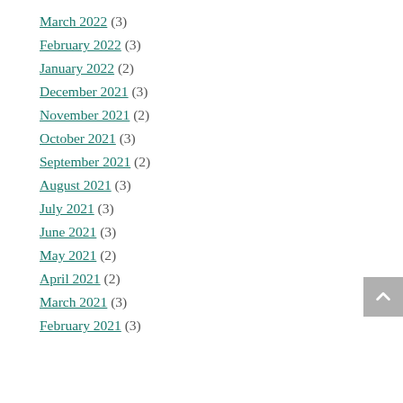March 2022 (3)
February 2022 (3)
January 2022 (2)
December 2021 (3)
November 2021 (2)
October 2021 (3)
September 2021 (2)
August 2021 (3)
July 2021 (3)
June 2021 (3)
May 2021 (2)
April 2021 (2)
March 2021 (3)
February 2021 (3)